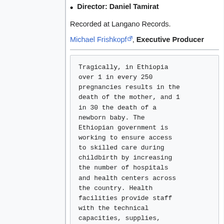Director: Daniel Tamirat
Recorded at Langano Records.
Michael Frishkopf, Executive Producer
Tragically, in Ethiopia over 1 in every 250 pregnancies results in the death of the mother, and 1 in 30 the death of a newborn baby. The Ethiopian government is working to ensure access to skilled care during childbirth by increasing the number of hospitals and health centers across the country. Health facilities provide staff with the technical capacities, supplies,